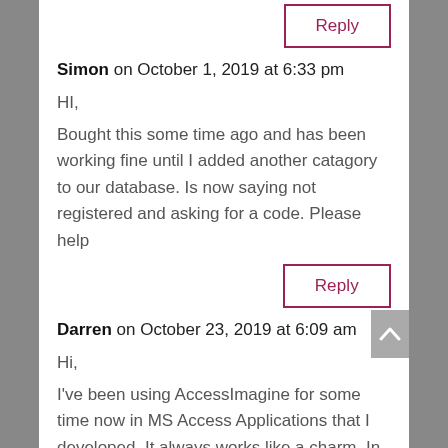Simon on October 1, 2019 at 6:33 pm
HI,
Bought this some time ago and has been working fine until I added another catagory to our database. Is now saying not registered and asking for a code. Please help
Reply
Darren on October 23, 2019 at 6:09 am
Hi,
I've been using AccessImagine for some time now in MS Access Applications that I developed. It always works like a charm. In the documentation, you